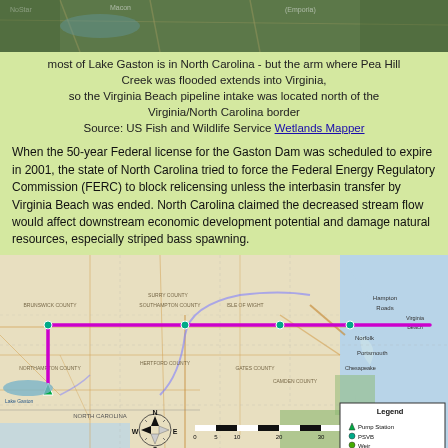[Figure (map): Satellite/aerial map showing Lake Gaston area at the Virginia/North Carolina border, top portion of page]
most of Lake Gaston is in North Carolina - but the arm where Pea Hill Creek was flooded extends into Virginia, so the Virginia Beach pipeline intake was located north of the Virginia/North Carolina border
Source: US Fish and Wildlife Service Wetlands Mapper
When the 50-year Federal license for the Gaston Dam was scheduled to expire in 2001, the state of North Carolina tried to force the Federal Energy Regulatory Commission (FERC) to block relicensing unless the interbasin transfer by Virginia Beach was ended. North Carolina claimed the decreased stream flow would affect downstream economic development potential and damage natural resources, especially striped bass spawning.
[Figure (map): Regional map showing the Virginia Beach pipeline route from Lake Gaston to Virginia Beach, with a magenta/purple line indicating the mainline, compass rose, scale bar in miles, and legend showing Pump Station, PSVB, Weir, Outfall, and Mainline symbols]